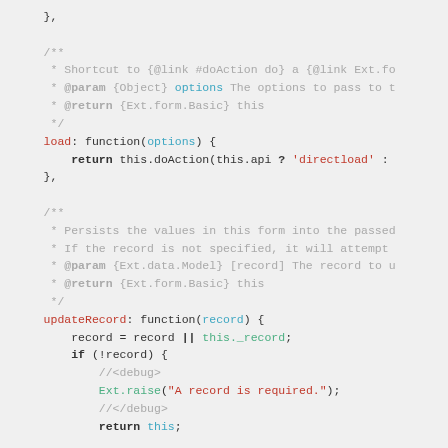[Figure (screenshot): Source code snippet showing JavaScript methods: a closing brace, a JSDoc comment block for 'load' function with @param options and @return, the load function implementation calling this.doAction, another JSDoc comment block for 'updateRecord' function with @param record and @return, and the updateRecord function implementation with record assignment, if(!record) check, debug comment, Ext.raise call, and return statement.]